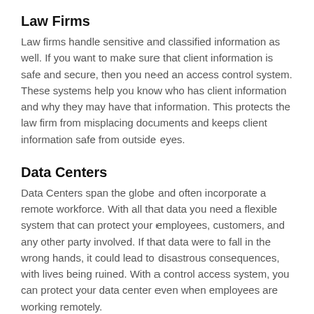Law Firms
Law firms handle sensitive and classified information as well. If you want to make sure that client information is safe and secure, then you need an access control system. These systems help you know who has client information and why they may have that information. This protects the law firm from misplacing documents and keeps client information safe from outside eyes.
Data Centers
Data Centers span the globe and often incorporate a remote workforce. With all that data you need a flexible system that can protect your employees, customers, and any other party involved. If that data were to fall in the wrong hands, it could lead to disastrous consequences, with lives being ruined. With a control access system, you can protect your data center even when employees are working remotely.
General Businesses
If at any point your company is planning on dealing with